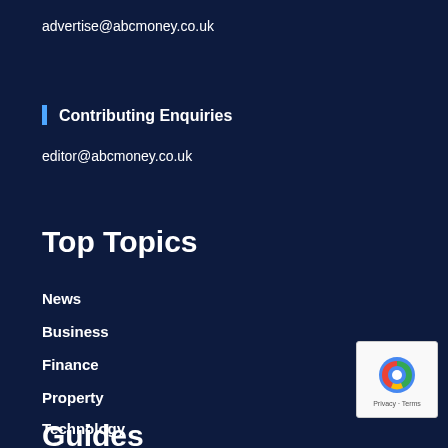advertise@abcmoney.co.uk
Contributing Enquiries
editor@abcmoney.co.uk
Top Topics
News
Business
Finance
Property
Technology
Investment
Guides
[Figure (logo): reCAPTCHA logo with Privacy and Terms text]